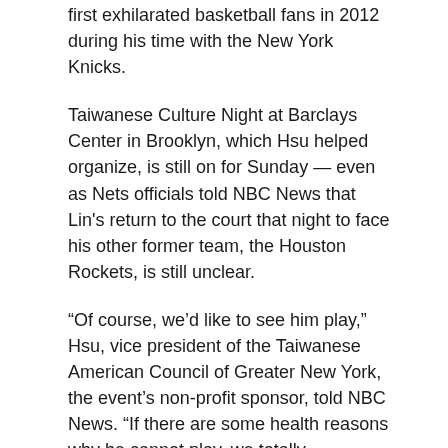first exhilarated basketball fans in 2012 during his time with the New York Knicks.
Taiwanese Culture Night at Barclays Center in Brooklyn, which Hsu helped organize, is still on for Sunday — even as Nets officials told NBC News that Lin's return to the court that night to face his other former team, the Houston Rockets, is still unclear.
“Of course, we’d like to see him play,” Hsu, vice president of the Taiwanese American Council of Greater New York, the event’s non-profit sponsor, told NBC News. “If there are some health reasons why he cannot play, we totally understand that.”
He added, “We still are here and we want to support him.”
“Of course, we’d like to see him play. If there are some health reasons why he cannot play, we totally understand that.” Hsu hopes the event, the first for the Brooklyn team, introduces Nets fans to his native Taiwan, the Democratically self-ruled island off the coast of China. More than 1,000